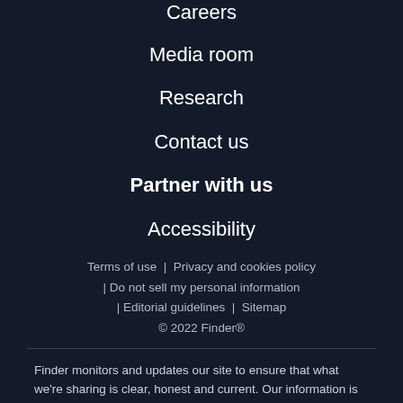Careers
Media room
Research
Contact us
Partner with us
Accessibility
Terms of use  |  Privacy and cookies policy  |  Do not sell my personal information  |  Editorial guidelines  |  Sitemap  © 2022 Finder®
Finder monitors and updates our site to ensure that what we're sharing is clear, honest and current. Our information is based on independent research and may differ from what you see from a financial institution or service provider. When comparing offers or services, verify relevant information with the institution or provider's site. Talk with a financial professional if you're not